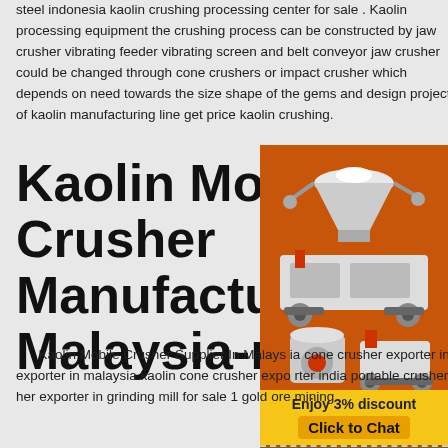steel indonesia kaolin crushing processing center for sale . Kaolin processing equipment the crushing process can be constructed by jaw crusher vibrating feeder vibrating screen and belt conveyor jaw crusher could be changed through cone crushers or impact crusher which depends on need towards the size shape of the gems and design project of kaolin manufacturing line get price kaolin crushing.
Kaolin Mobile Crusher Manufacturer In Malaysia-mobile
[Figure (photo): Advertisement panel with orange background showing industrial crushing equipment machines (cone crusher, jaw crusher, mobile crusher). Below the machines: 'Enjoy 3% discount' in yellow, 'Click to Chat' button. Below that: 'Enquiry' section with email 'limingjlmofen@sina.com' on brown background.]
Kaolin Mobile Crusher Supplier In Malaysia cone crusher exporter in malaysia kaolin impact exporter in malaysia kaolin cone crusher exporter india portable crusher exporter in portable crusher exporter in grinding mill for sale 1 gold ore mining